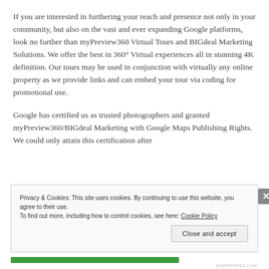If you are interested in furthering your reach and presence not only in your community, but also on the vast and ever expanding Google platforms, look no further than myPreview360 Virtual Tours and BIGdeal Marketing Solutions. We offer the best in 360° Virtual experiences all in stunning 4K definition. Our tours may be used in conjunction with virtually any online property as we provide links and can embed your tour via coding for promotional use.
Google has certified us as trusted photographers and granted myPreview360/BIGdeal Marketing with Google Maps Publishing Rights. We could only attain this certification after
Privacy & Cookies: This site uses cookies. By continuing to use this website, you agree to their use.
To find out more, including how to control cookies, see here: Cookie Policy
Close and accept